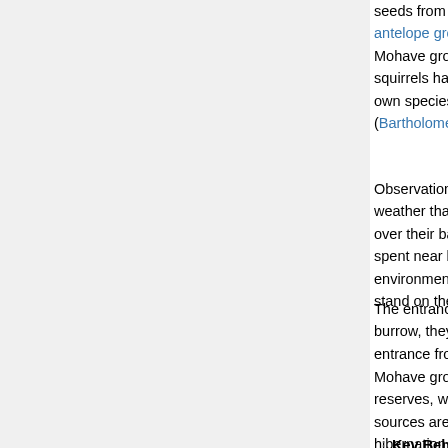seeds from a particular Joshua trees (Yucca bre... antelope ground squirrels are social by comparison to Mohave ground squirrels. However, Mohave ground squirrels have been observed retreating from the own species, Mohave ground squirrels are described (Bartholomew and Hudson, 1960; Zembal and C...
Observations of Mohave ground squirrels' activities weather than on warm, sunny days. If threatened, over their back when running. However, they rarely spent near burrows. When danger is perceived, environment due to their cryptic coloration. If disturbed stand on their hind legs to better survey the area.
The entrance to Mohave ground squirrels' burrows burrow, they likely scatter the dirt. However, when entrance from within using dirt and grasses. (Bu...
Mohave ground squirrels typically enter aestivation reserves, when temperatures decrease to between sources are reduced due to lack of water. This period hibernation Mohave ground squirrels have reduced consumption, prolonged periods of apnea (a state (Bartholomew and Hudson, 1960)
Key Behaviors: terricolous ; diurnal ; motile